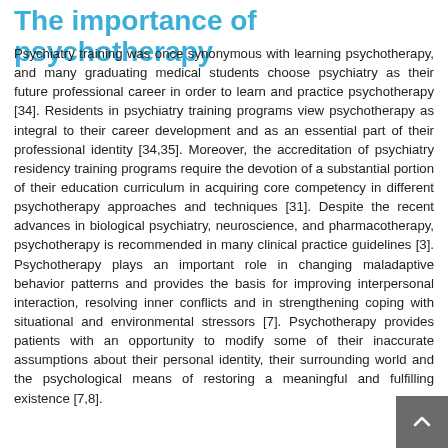The importance of psychotherapy
Psychiatry training was once synonymous with learning psychotherapy, and many graduating medical students choose psychiatry as their future professional career in order to learn and practice psychotherapy [34]. Residents in psychiatry training programs view psychotherapy as integral to their career development and as an essential part of their professional identity [34,35]. Moreover, the accreditation of psychiatry residency training programs require the devotion of a substantial portion of their education curriculum in acquiring core competency in different psychotherapy approaches and techniques [31]. Despite the recent advances in biological psychiatry, neuroscience, and pharmacotherapy, psychotherapy is recommended in many clinical practice guidelines [3]. Psychotherapy plays an important role in changing maladaptive behavior patterns and provides the basis for improving interpersonal interaction, resolving inner conflicts and in strengthening coping with situational and environmental stressors [7]. Psychotherapy provides patients with an opportunity to modify some of their inaccurate assumptions about their personal identity, their surrounding world and the psychological means of restoring a meaningful and fulfilling existence [7,8].